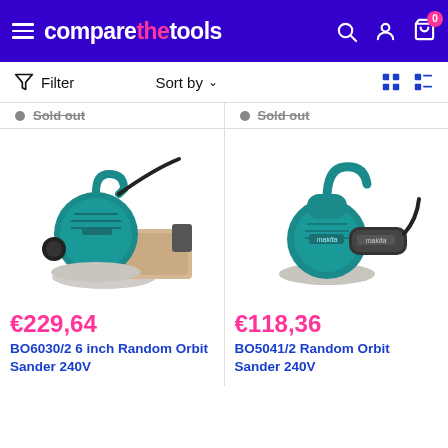[Figure (screenshot): comparethetools website header with logo, hamburger menu, search, account, and cart icons on blue background]
Filter   Sort by   [grid view] [list view]
Sold out   Sold out
[Figure (photo): Makita BO6030/2 6 inch Random Orbit Sander 240V - teal/blue power tool with sanding pad]
€229,64
BO6030/2 6 inch Random Orbit Sander 240V
[Figure (photo): Makita BO5041/2 Random Orbit Sander 240V - teal/blue compact orbital sander]
€118,36
BO5041/2 Random Orbit Sander 240V